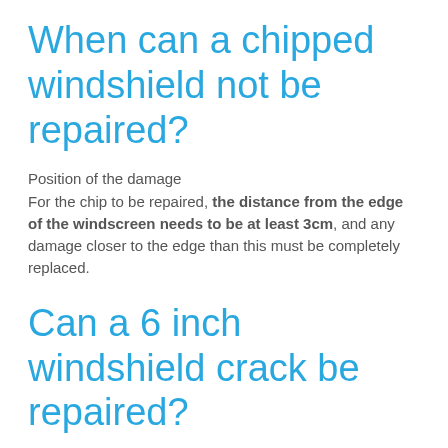When can a chipped windshield not be repaired?
Position of the damage
For the chip to be repaired, the distance from the edge of the windscreen needs to be at least 3cm, and any damage closer to the edge than this must be completely replaced.
Can a 6 inch windshield crack be repaired?